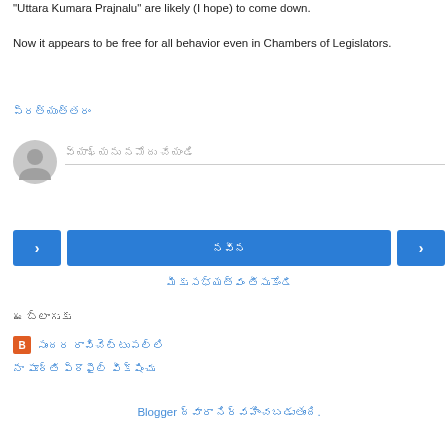"Uttara Kumara Prajnalu" are likely (I hope) to come down.

Now it appears to be free for all behavior even in Chambers of Legislators.
ప్రత్యుత్తరం
వ్యాఖ్యను నమోదు చేయండి (comment input placeholder)
‹  [Telugu text]  ›
మీకు సభ్యత్వం తీసుకోండి
ఈ బ్లాగుకు
సుందర రావిచెట్టుపల్లి
నా పూర్తి ప్రొఫైల్ వీక్షించు
Blogger ద్వారా నిర్వహించబడుతుంది.